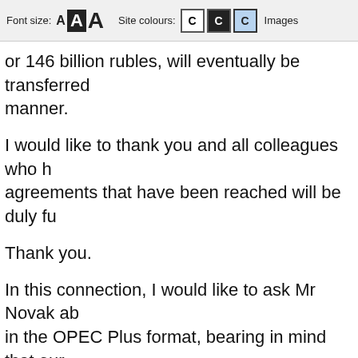Font size: A A A   Site colours: C C C   Images
or 146 billion rubles, will eventually be transferred manner.
I would like to thank you and all colleagues who h agreements that have been reached will be duly fu
Thank you.
In this connection, I would like to ask Mr Novak ab in the OPEC Plus format, bearing in mind that our
Please, you have the floor.
Deputy Prime Minister Alexander Novak: Mr Pr
As per your instruction, we continue to coordinate to stabilise the situation on the oil markets. A re